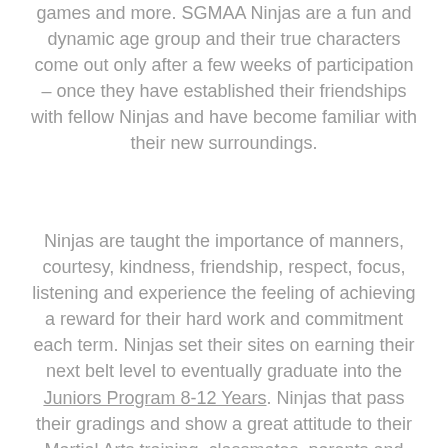games and more. SGMAA Ninjas are a fun and dynamic age group and their true characters come out only after a few weeks of participation – once they have established their friendships with fellow Ninjas and have become familiar with their new surroundings.
Ninjas are taught the importance of manners, courtesy, kindness, friendship, respect, focus, listening and experience the feeling of achieving a reward for their hard work and commitment each term. Ninjas set their sites on earning their next belt level to eventually graduate into the Juniors Program 8-12 Years. Ninjas that pass their gradings and show a great attitude to their Martial Arts training, classmates, parents and home life eventually move onto the Juniors Program